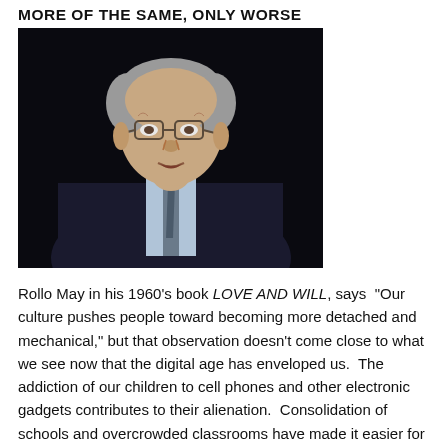MORE OF THE SAME, ONLY WORSE
[Figure (photo): Black and white portrait photo of an older man with glasses wearing a dark suit, speaking or presenting, against a dark background (appears to be Rollo May).]
Rollo May in his 1960’s book LOVE AND WILL, says “Our culture pushes people toward becoming more detached and mechanical,” but that observation doesn't come close to what we see now that the digital age has enveloped us.  The addiction of our children to cell phones and other electronic gadgets contributes to their alienation.  Consolidation of schools and overcrowded classrooms have made it easier for kids to fall through the cracks.  Social media has become a convenient vehicle through which kids can be disparaged or bullied.  They are often attacked where they are most vulnerable i.e. their lovability consequently; the common theme “no one likes you” can be devastating to developing minds.  Now we hear